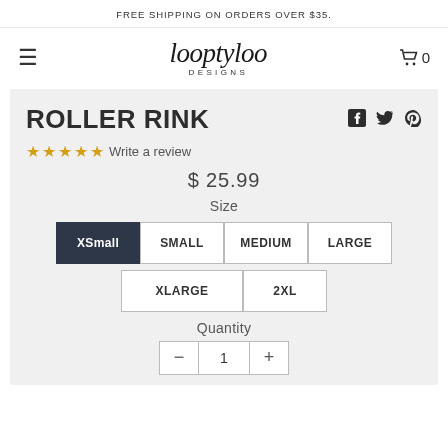FREE SHIPPING ON ORDERS OVER $35.
[Figure (logo): Looptyloo Designs logo — script font 'looptyloo' with 'DESIGNS' in small caps below]
ROLLER RINK
Write a review
$ 25.99
Size
XSmall (selected)
SMALL
MEDIUM
LARGE
XLARGE
2XL
Quantity